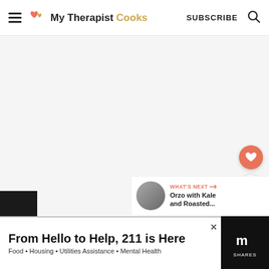My Therapist Cooks — SUBSCRIBE
[Figure (screenshot): Main content area of a recipe website, light gray background, mostly blank/loading area]
[Figure (illustration): Floating heart favorite button (salmon/orange circle with white heart icon)]
[Figure (illustration): Floating share button (white circle with share icon)]
WHAT'S NEXT → Orzo with Kale and Roasted...
From Hello to Help, 211 is Here
Food • Housing • Utilities Assistance • Mental Health